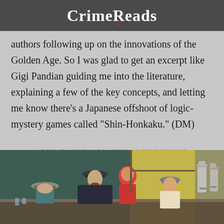CrimeReads
authors following up on the innovations of the Golden Age. So I was glad to get an excerpt like Gigi Pandian guiding me into the literature, explaining a few of the key concepts, and letting me know there’s a Japanese offshoot of logic-mystery games called “Shin-Honkaku.” (DM)
ARTICLE CONTINUES AFTER ADVERTISEMENT
[Figure (photo): Painting resembling Edward Hopper's Nighthawks showing people sitting at a diner counter at night — a man in a grey hat viewed from behind on the left, a bearded man in a dark hat and jacket, a red-haired woman in red, a man in a light shirt with a striped hat, and metal canister dispensers on the right, all beneath a yellow-lit interior.]